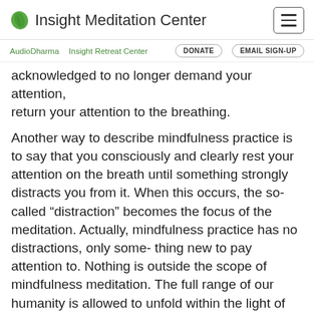Insight Meditation Center
AudioDharma   Insight Retreat Center   DONATE   EMAIL SIGN-UP
acknowledged to no longer demand your attention, return your attention to the breathing.
Another way to describe mindfulness practice is to say that you consciously and clearly rest your attention on the breath until something strongly distracts you from it. When this occurs, the so-called “distraction” becomes the focus of the meditation. Actually, mindfulness practice has no distractions, only some- thing new to pay attention to. Nothing is outside the scope of mindfulness meditation. The full range of our humanity is allowed to unfold within the light of our mindfulness. Physical sensations, feelings, emotions, thoughts, mental states, moods, and intentions are all included.